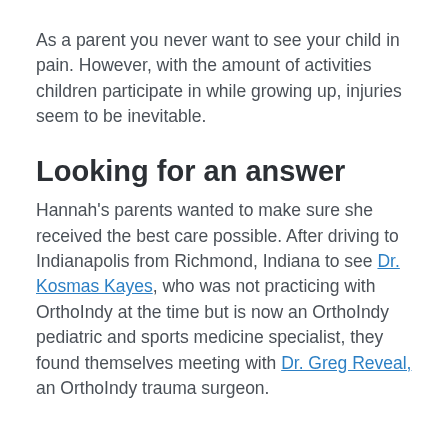As a parent you never want to see your child in pain. However, with the amount of activities children participate in while growing up, injuries seem to be inevitable.
Looking for an answer
Hannah's parents wanted to make sure she received the best care possible. After driving to Indianapolis from Richmond, Indiana to see Dr. Kosmas Kayes, who was not practicing with OrthoIndy at the time but is now an OrthoIndy pediatric and sports medicine specialist, they found themselves meeting with Dr. Greg Reveal, an OrthoIndy trauma surgeon.